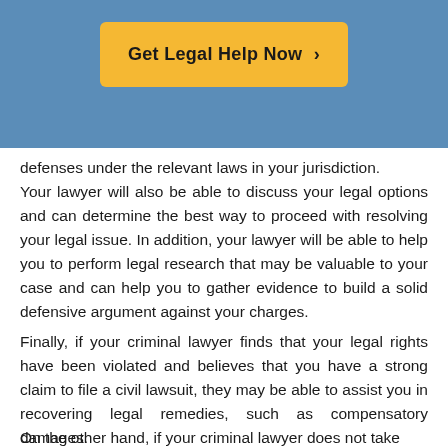[Figure (other): Orange button with text 'Get Legal Help Now >' on a blue background header]
defenses under the relevant laws in your jurisdiction.
Your lawyer will also be able to discuss your legal options and can determine the best way to proceed with resolving your legal issue. In addition, your lawyer will be able to help you to perform legal research that may be valuable to your case and can help you to gather evidence to build a solid defensive argument against your charges.
Finally, if your criminal lawyer finds that your legal rights have been violated and believes that you have a strong claim to file a civil lawsuit, they may be able to assist you in recovering legal remedies, such as compensatory damages.
On the other hand, if your criminal lawyer does not take